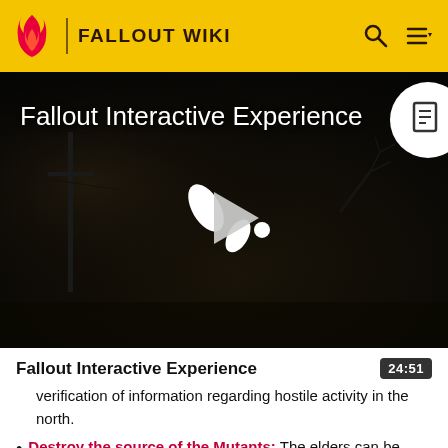FALLOUT WIKI
[Figure (screenshot): Dark post-apocalyptic video thumbnail for 'Fallout Interactive Experience' with a Fandom play button overlay and a document icon in top-right corner]
Fallout Interactive Experience
24:51
verification of information regarding hostile activity in the north.
Destroy the source of the Mutants: The elders can be convinced to assist in the assault on Mariposa Milita...